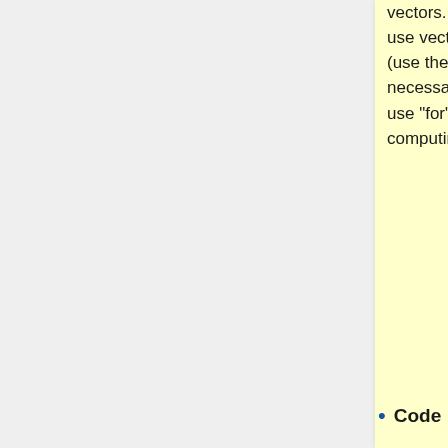vectors. It is far better to use vector operations (use the . operator as necessary) than it is to use "for" loops when computing many values.
Code